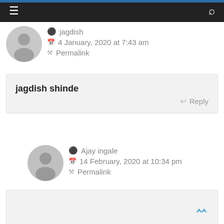≡  🔍
jagdish
4 January, 2020 at 7:43 am
Permalink
jagdish shinde
Reply
Ajay ingale
14 February, 2020 at 10:34 pm
Permalink
Reply